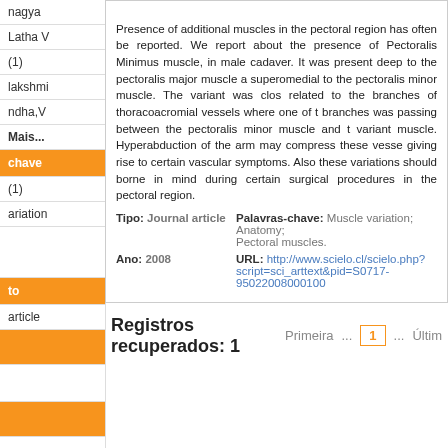nagya
Latha V
(1)
lakshmi
ndha,V
Mais...
chave
(1)
ariation
to
article
Presence of additional muscles in the pectoral region has often been reported. We report about the presence of Pectoralis Minimus muscle, in a male cadaver. It was present deep to the pectoralis major muscle and superomedial to the pectoralis minor muscle. The variant was closely related to the branches of thoracoacromial vessels where one of the branches was passing between the pectoralis minor muscle and the variant muscle. Hyperabduction of the arm may compress these vessels giving rise to certain vascular symptoms. Also these variations should be borne in mind during certain surgical procedures in the pectoral region.
Tipo: Journal article
Palavras-chave: Muscle variation; Anatomy; Pectoral muscles.
Ano: 2008
URL: http://www.scielo.cl/scielo.php?script=sci_arttext&pid=S0717-95022008000100...
Registros recuperados: 1  Primeira  ...  1  ...  Últim...